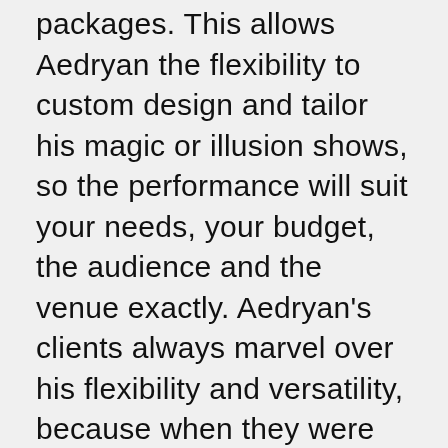packages. This allows Aedryan the flexibility to custom design and tailor his magic or illusion shows, so the performance will suit your needs, your budget, the audience and the venue exactly. Aedryan's clients always marvel over his flexibility and versatility, because when they were trying to find magicians for hire in Wilkes Barre, PA and